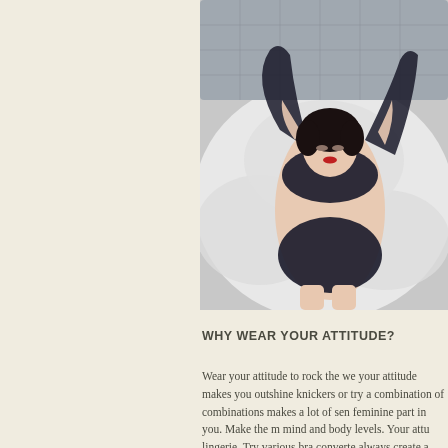[Figure (photo): A woman in black lace lingerie (bra and high-waisted knickers) lying on white pillows, wearing black gloves, photographed from above in a fashion editorial style.]
WHY WEAR YOUR ATTITUDE?
Wear your attitude to rock the we your attitude makes you outshine knickers or try a combination of combinations makes a lot of sen feminine part in you. Make the m mind and body levels. Your attu lingerie. Try various bra converte always create a different appeal right fit of undergarment helps y